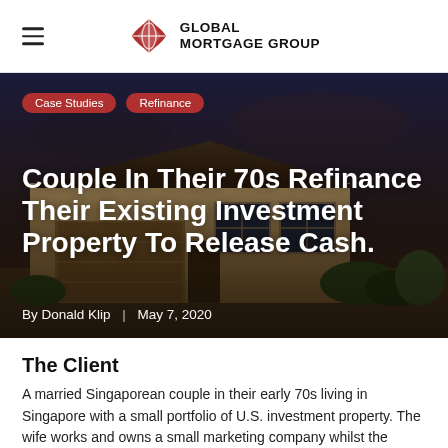Global Mortgage Group
[Figure (photo): Exterior photo of a single-story residential home at dusk with a two-car garage, stucco exterior, and desert landscaping. Dark sky in background. Image used as hero banner.]
Case Studies
Refinance
Couple In Their 70s Refinance Their Existing Investment Property To Release Cash.
By Donald Klip | May 7, 2020
The Client
A married Singaporean couple in their early 70s living in Singapore with a small portfolio of U.S. investment property. The wife works and owns a small marketing company whilst the husband is retired. In addition to their